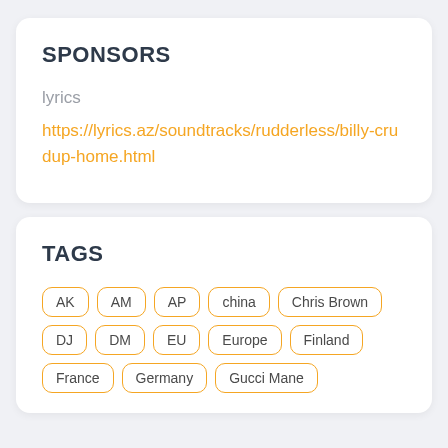SPONSORS
lyrics
https://lyrics.az/soundtracks/rudderless/billy-crudup-home.html
TAGS
AK
AM
AP
china
Chris Brown
DJ
DM
EU
Europe
Finland
France
Germany
Gucci Mane